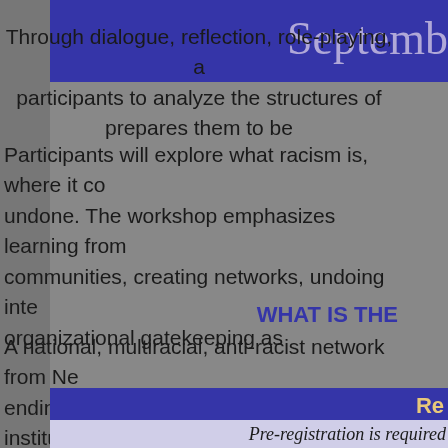Septemb
Through dialogue, reflection, role-playing, a participants to analyze the structures of prepares them to be
Participants will explore what racism is, where it co undone. The workshop emphasizes learning from communities, creating networks, undoing inte organizational gatekeeping as
WHAT IS THE
A national, multiracial, anti-racist network from Ne ending racism and other forms of institutional o leadership development to more than 110,00
Re
Pre-registration is required